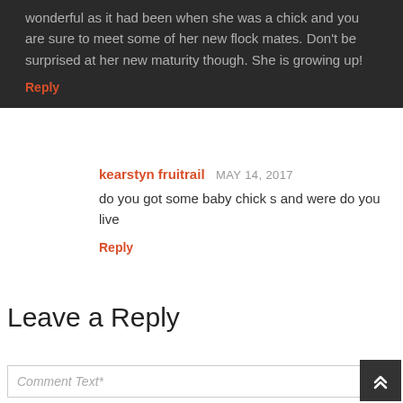wonderful as it had been when she was a chick and you are sure to meet some of her new flock mates. Don't be surprised at her new maturity though. She is growing up!
Reply
kearstyn fruitrail MAY 14, 2017
do you got some baby chick s and were do you live
Reply
Leave a Reply
Comment Text*